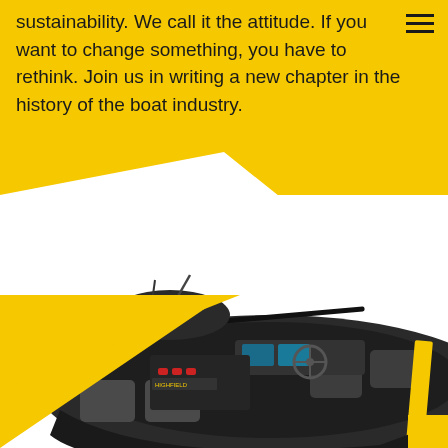sustainability. We call it the attitude. If you want to change something, you have to rethink. Join us in writing a new chapter in the history of the boat industry.
[Figure (photo): Top-down view of a dark grey/black motorboat interior showing steering wheel, dashboard with navigation screens, seating, and a yellow accent stripe on the hull. Yellow geometric triangle decorations on the left side.]